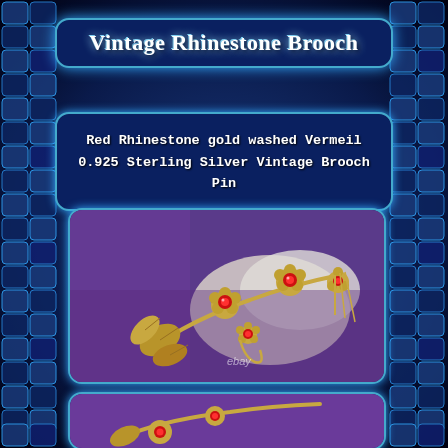Vintage Rhinestone Brooch
Red Rhinestone gold washed Vermeil 0.925 Sterling Silver Vintage Brooch Pin
[Figure (photo): Photograph of a gold-washed vermeil sterling silver brooch with red rhinestone flower accents on a purple and white fur background. An eBay watermark is visible.]
[Figure (photo): Partial photograph of the same brooch, cropped at the bottom of the page.]